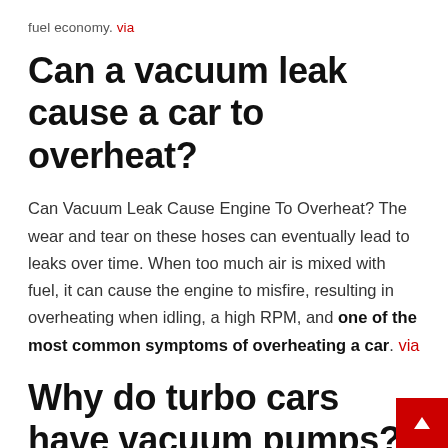fuel economy. via
Can a vacuum leak cause a car to overheat?
Can Vacuum Leak Cause Engine To Overheat? The wear and tear on these hoses can eventually lead to leaks over time. When too much air is mixed with fuel, it can cause the engine to misfire, resulting in overheating when idling, a high RPM, and one of the most common symptoms of overheating a car. via
Why do turbo cars have vacuum pumps?